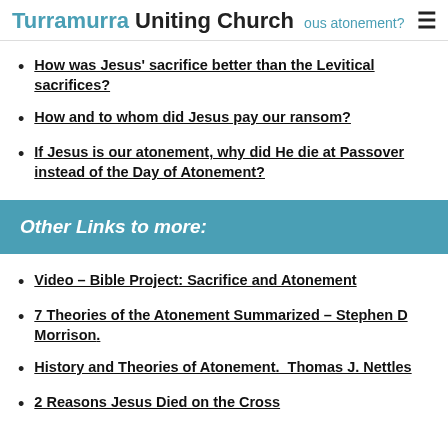Turramurra Uniting Church
How was Jesus' sacrifice better than the Levitical sacrifices?
How and to whom did Jesus pay our ransom?
If Jesus is our atonement, why did He die at Passover instead of the Day of Atonement?
Other Links to more:
Video – Bible Project: Sacrifice and Atonement
7 Theories of the Atonement Summarized – Stephen D Morrison.
History and Theories of Atonement.  Thomas J. Nettles
2 Reasons Jesus Died on the Cross